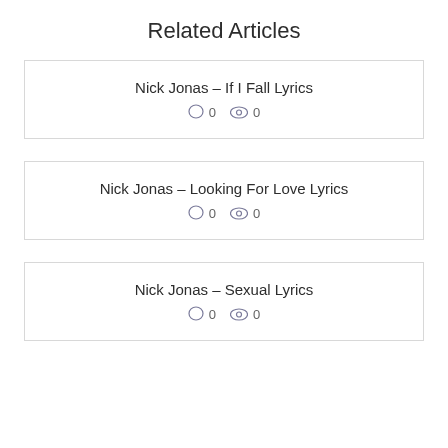Related Articles
Nick Jonas – If I Fall Lyrics
0  0
Nick Jonas – Looking For Love Lyrics
0  0
Nick Jonas – Sexual Lyrics
0  0